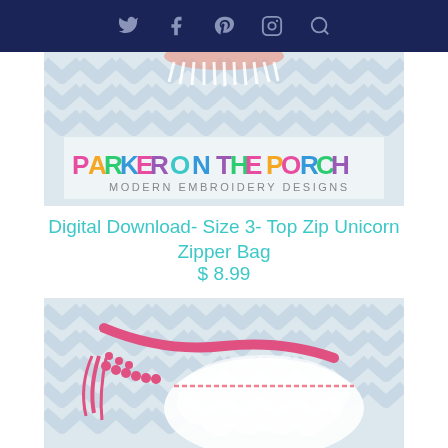Navigation bar with social icons: Twitter, Facebook, Pinterest, Instagram, Search
[Figure (photo): Parker on the Porch Modern Embroidery Designs logo banner with chevron background and tassel/fringe decoration at top]
Digital Download- Size 3- Top Zip Unicorn Zipper Bag
$ 8.99
[Figure (photo): Product photo of a unicorn zipper bag with pink pom-pom trim and white fluffy decoration on a gray chevron background]